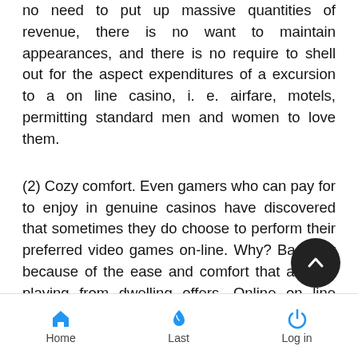no need to put up massive quantities of revenue, there is no want to maintain appearances, and there is no require to shell out for the aspect expenditures of a excursion to a on line casino, i. e. airfare, motels, permitting standard men and women to love them.
(2) Cozy comfort. Even gamers who can pay for to enjoy in genuine casinos have discovered that sometimes they do choose to perform their preferred video games on-line. Why? Basically because of the ease and comfort that actively playing from dwelling offers. Online on line casino online games permit any individual to perform while in their pajamas, even though lying in mattress, or even though watching their beloved cable athletics channel. No 1 can do that in actual casinos, no matter any difference how prosperous or how major a part they are.
Home  Last  Log in